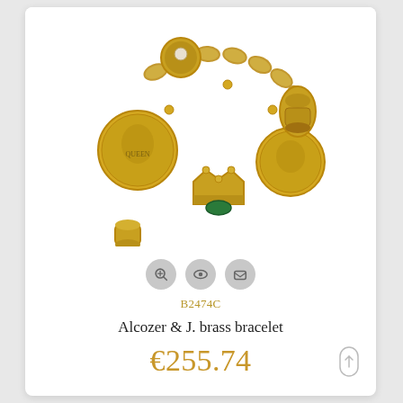[Figure (photo): A gold-toned charm bracelet with multiple decorative charms including coins, a crown with green stone, ornamental beads, and a pearl-set charm, photographed on white background.]
B2474C
Alcozer & J. brass bracelet
€255.74